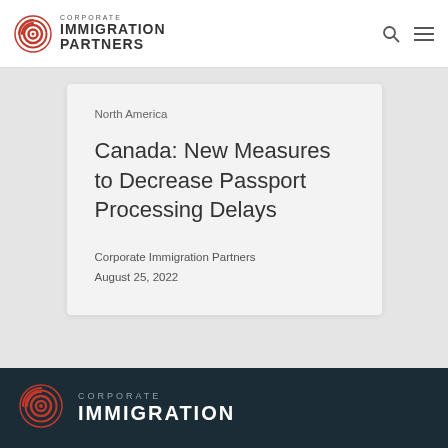CORPORATE IMMIGRATION PARTNERS
North America
Canada: New Measures to Decrease Passport Processing Delays
Corporate Immigration Partners
August 25, 2022
[Figure (logo): Corporate Immigration Partners logo with red concentric circle target icon and company name text in dark gray]
CORPORATE IMMIGRATION